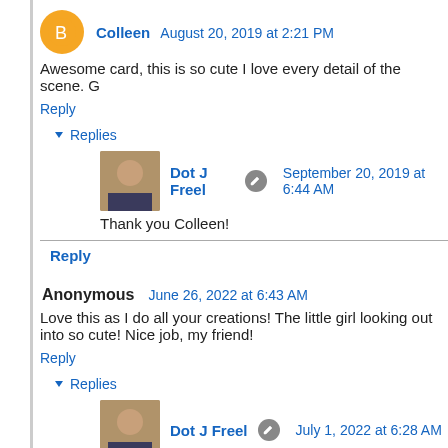Colleen  August 20, 2019 at 2:21 PM
Awesome card, this is so cute I love every detail of the scene. G
Reply
▾ Replies
Dot J Freel  September 20, 2019 at 6:44 AM
Thank you Colleen!
Reply
Anonymous  June 26, 2022 at 6:43 AM
Love this as I do all your creations! The little girl looking out into so cute! Nice job, my friend!
Reply
▾ Replies
Dot J Freel  July 1, 2022 at 6:28 AM
Thanks!